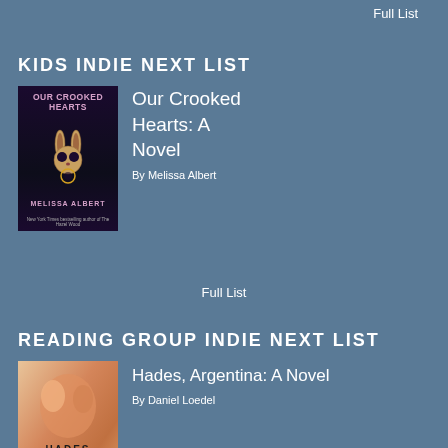Full List
KIDS INDIE NEXT LIST
[Figure (illustration): Book cover of 'Our Crooked Hearts' by Melissa Albert, dark background with a decorative rabbit skull illustration]
Our Crooked Hearts: A Novel
By Melissa Albert
Full List
READING GROUP INDIE NEXT LIST
[Figure (illustration): Book cover of 'Hades, Argentina: A Novel' by Daniel Loedel, warm orange and brown tones]
Hades, Argentina: A Novel
By Daniel Loedel